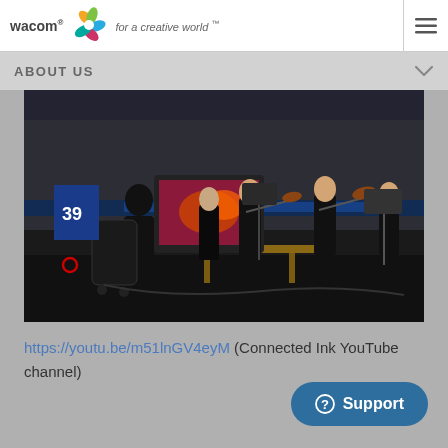wacom for a creative world™
ABOUT US
[Figure (photo): Orchestra performance on a dark stage with musicians playing violins and a person using a Wacom drawing tablet with a large display showing artwork, blue LED lighting in the background.]
https://youtu.be/m51lnGV4eyM (Connected Ink YouTube channel)